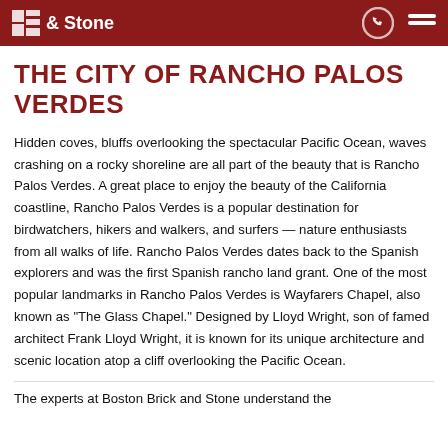& Stone
THE CITY OF RANCHO PALOS VERDES
Hidden coves, bluffs overlooking the spectacular Pacific Ocean, waves crashing on a rocky shoreline are all part of the beauty that is Rancho Palos Verdes. A great place to enjoy the beauty of the California coastline, Rancho Palos Verdes is a popular destination for birdwatchers, hikers and walkers, and surfers — nature enthusiasts from all walks of life. Rancho Palos Verdes dates back to the Spanish explorers and was the first Spanish rancho land grant. One of the most popular landmarks in Rancho Palos Verdes is Wayfarers Chapel, also known as "The Glass Chapel." Designed by Lloyd Wright, son of famed architect Frank Lloyd Wright, it is known for its unique architecture and scenic location atop a cliff overlooking the Pacific Ocean.
The experts at Boston Brick and Stone understand the